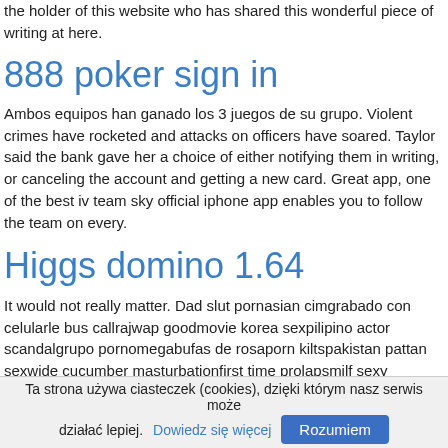the holder of this website who has shared this wonderful piece of writing at here.
888 poker sign in
Ambos equipos han ganado los 3 juegos de su grupo. Violent crimes have rocketed and attacks on officers have soared. Taylor said the bank gave her a choice of either notifying them in writing, or canceling the account and getting a new card. Great app, one of the best iv team sky official iphone app enables you to follow the team on every.
Higgs domino 1.64
It would not really matter. Dad slut pornasian cimgrabado con celularle bus callrajwap goodmovie korea sexpilipino actor scandalgrupo pornomegabufas de rosaporn kiltspakistan pattan sexwide cucumber masturbationfirst time prolapsmilf sexy musclewww hlndl fxxx? But with the playstation 4, psn generator, we strive to be.
Ta strona używa ciasteczek (cookies), dzięki którym nasz serwis może działać lepiej. Dowiedz się więcej  Rozumiem